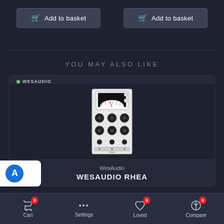[Figure (screenshot): Two 'Add to basket' buttons with shopping cart icons on dark background]
YOU MAY ALSO LIKE
[Figure (photo): WesAudio product card showing the WESAUDIO RHEA hardware unit — a 500-series compressor module with VU meter, knobs, and controls on white panel]
WesAudio
WESAUDIO RHEA
[Figure (screenshot): Bottom navigation bar with Cart (0), Settings, Loved (0), and Compare (0) icons]